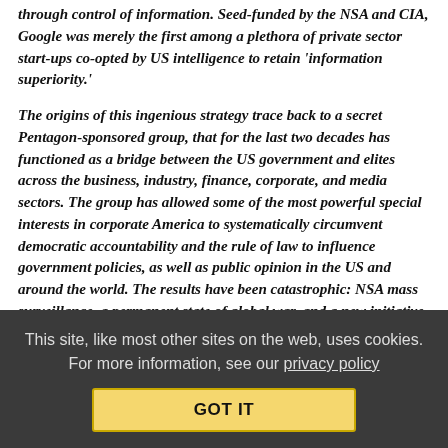through control of information. Seed-funded by the NSA and CIA, Google was merely the first among a plethora of private sector start-ups co-opted by US intelligence to retain ‘information superiority.’
The origins of this ingenious strategy trace back to a secret Pentagon-sponsored group, that for the last two decades has functioned as a bridge between the US government and elites across the business, industry, finance, corporate, and media sectors. The group has allowed some of the most powerful special interests in corporate America to systematically circumvent democratic accountability and the rule of law to influence government policies, as well as public opinion in the US and around the world. The results have been catastrophic: NSA mass surveillance, a permanent state of global war, and a new initiative to transform the US military into Skynet.
Inevitably, many of these policies have been shaped and driven
This site, like most other sites on the web, uses cookies. For more information, see our privacy policy
GOT IT